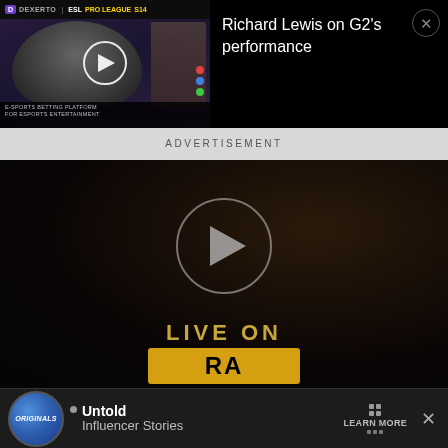[Figure (screenshot): Video thumbnail for 'Richard Lewis on G2's performance' from Dexerto ESL Pro League S14, showing a person with glasses in front of a bookshelf]
Richard Lewis on G2's performance
ADVERTISEMENT
[Figure (screenshot): Dark video player showing a play button circle in the center, with 'LIVE ON' text and a RA (Radio Ahora) logo at the bottom]
[Figure (screenshot): Bottom banner advertisement for Originals - Untold Influencer Stories with Learn More button]